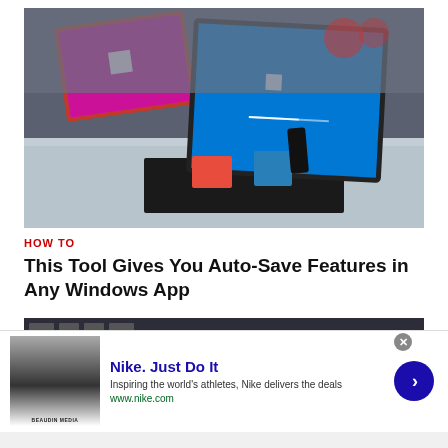[Figure (photo): Photo of Microsoft Surface tablets on display table, one with pink/magenta screen showing Windows logo, another with blue screen showing Windows loading, black keyboard attached, red and blue accessories on table]
HOW TO
This Tool Gives You Auto-Save Features in Any Windows App
[Figure (screenshot): Partial screenshot of a Windows application, dark interface visible at top]
[Figure (other): Nike advertisement: 'Nike. Just Do It' - Inspiring the world's athletes, Nike delivers the deals. www.nike.com. With product thumbnail image and blue arrow button.]